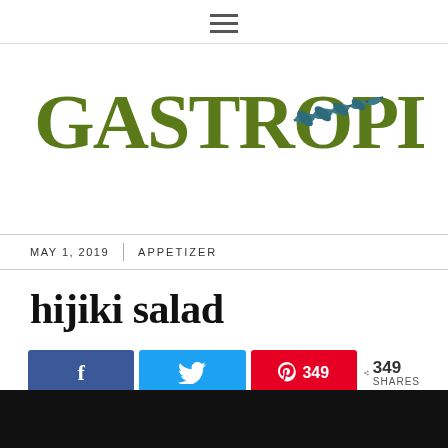≡ (hamburger menu icon)
[Figure (logo): Gastroplant logo with decorative serif text in olive green and a teal botanical leaf branch illustration]
MAY 1, 2019 | APPETIZER
hijiki salad
[Figure (infographic): Social share buttons: Facebook (f), Twitter (bird), Pinterest with 349 count, share icon with 349 SHARES count]